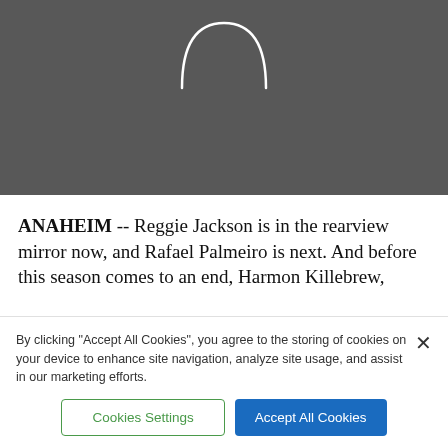[Figure (other): Dark grey video loading placeholder with a white spinner arc at the top center]
ANAHEIM -- Reggie Jackson is in the rearview mirror now, and Rafael Palmeiro is next. And before this season comes to an end, Harmon Killebrew,
By clicking “Accept All Cookies”, you agree to the storing of cookies on your device to enhance site navigation, analyze site usage, and assist in our marketing efforts.
Cookies Settings
Accept All Cookies